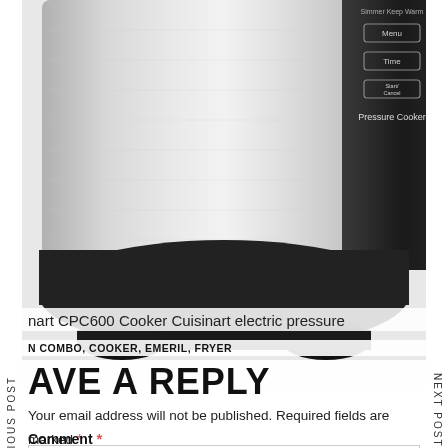[Figure (photo): Bottom portion of a Cuisinart electric pressure cooker, stainless steel body with black control panel showing buttons labeled Menu, Time, and Start/Cancel. Label reads 'Pressure Cooker'. Navigation UI overlaid with 'PREVIOUS POST' on left and 'NEXT POST' on right.]
nart CPC600 Cooker Cuisinart electric pressure
N COMBO, COOKER, EMERIL, FRYER
AVE A REPLY
Your email address will not be published. Required fields are marked *
Comment *